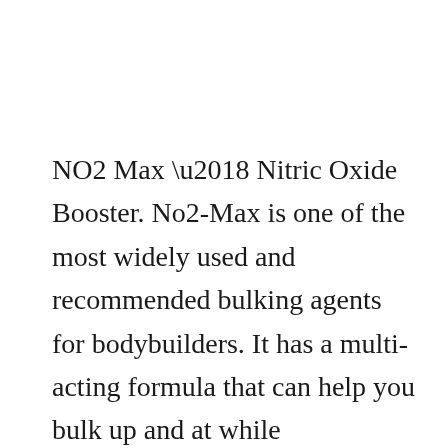NO2 Max ‘ Nitric Oxide Booster. No2-Max is one of the most widely used and recommended bulking agents for bodybuilders. It has a multi-acting formula that can help you bulk up and at while maximizing your strength and stamina. No2-Max is praised for its potency and ability to boost performance, legal supplements for muscle growth. Bulkpowders mass gainer